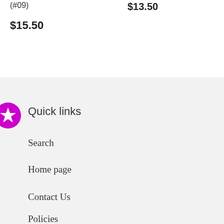(#09)
$13.50
$15.50
Quick links
Search
Home page
Contact Us
Policies